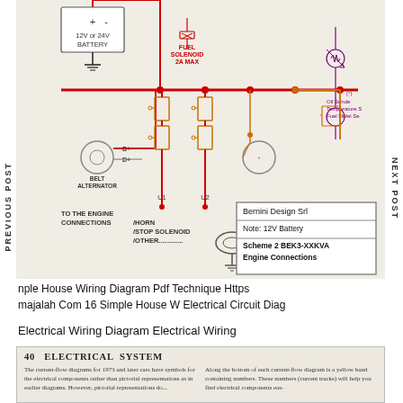[Figure (schematic): Electrical wiring schematic for a diesel generator engine connection. Shows 12V or 24V battery connected to belt alternator (B+, D+ terminals), fuel solenoid 2A max, starter motor, glow plug connections, fuse elements, U1 and U2 components, horn/stop solenoid/other connections, and an oil sender/temperature/fuel level sensor symbol. Red conductors show main power paths. Includes Bernini Design Srl information box: Note: 12V Battery, Scheme 2 BEK3-XXKVA Engine Connections. Navigation labels PREVIOUS POST and NEXT POST on sides.]
nple House Wiring Diagram Pdf Technique Https majalah Com 16 Simple House W Electrical Circuit Diag
Electrical Wiring Diagram Electrical Wiring
[Figure (other): Bottom portion of a scanned page showing section 40 Electrical System with two-column text about current-flow diagrams for 1973 and later cars with symbols for electrical components rather than pictorial representations. Right column mentions yellow band containing numbers (current tracks) to help find electrical components.]
40  ELECTRICAL SYSTEM
The current-flow diagrams for 1973 and later cars have symbols for the electrical components rather than pictorial representations as in earlier diagrams. However, pictorial representations do...
Along the bottom of each current-flow diagram is a yellow band containing numbers. These numbers (current tracks) will help you find electrical components eas-